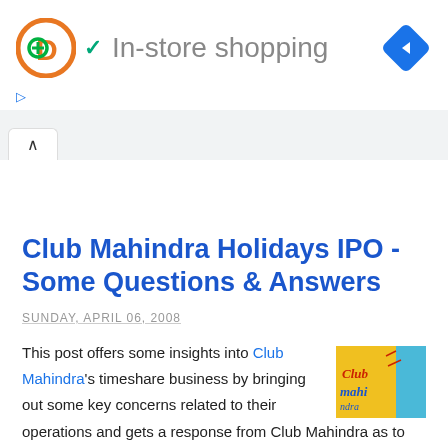[Figure (logo): Ad banner with orange D logo, green checkmark, 'In-store shopping' text, and blue diamond navigation icon]
Club Mahindra Holidays IPO - Some Questions & Answers
SUNDAY, APRIL 06, 2008
This post offers some insights into Club Mahindra's timeshare business by bringing out some key concerns related to their operations and gets a response from Club Mahindra as to how investors, members and prospects need not have to worry about those drawbacks and risk factors. I hate to write yet another seemingly negative post about Mahindra Holidays,[Read
[Figure (logo): Club Mahindra logo thumbnail - yellow background with colorful Club Mahindra branding]